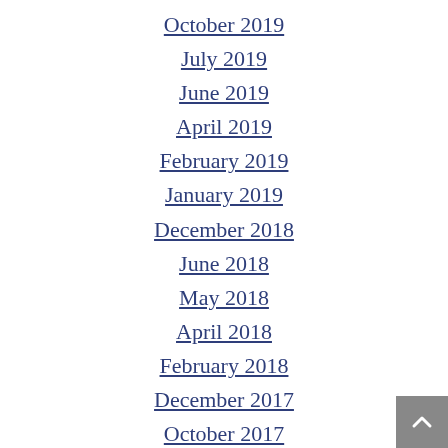October 2019
July 2019
June 2019
April 2019
February 2019
January 2019
December 2018
June 2018
May 2018
April 2018
February 2018
December 2017
October 2017
August 2017
July 2017
April 2017
February 2017